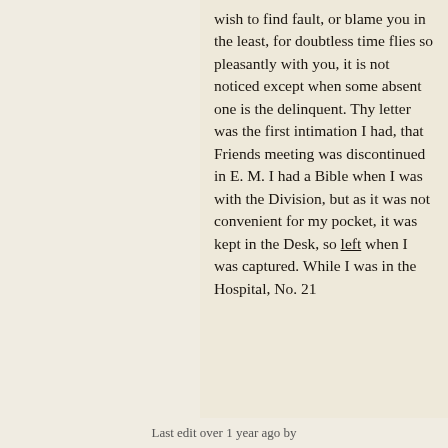wish to find fault, or blame you in the least, for doubtless time flies so pleasantly with you, it is not noticed except when some absent one is the delinquent. Thy letter was the first intimation I had, that Friends meeting was discontinued in E. M. I had a Bible when I was with the Division, but as it was not convenient for my pocket, it was kept in the Desk, so [underline]left[/underline] when I was captured. While I was in the Hospital, No. 21
Last edit over 1 year ago by